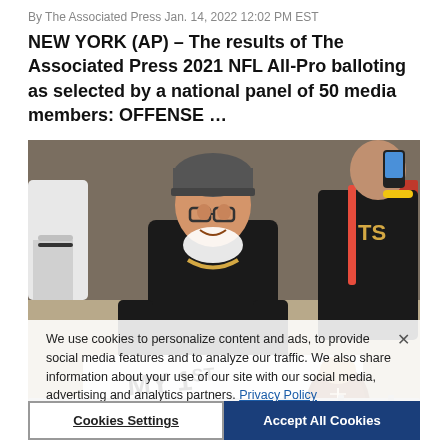By The Associated Press Jan. 14, 2022 12:02 PM EST
NEW YORK (AP) – The results of The Associated Press 2021 NFL All-Pro balloting as selected by a national panel of 50 media members: OFFENSE …
[Figure (photo): A fan wearing a black beanie hat and glasses holds a handwritten sign near metal barriers at an NFL game. Other fans are visible in the background, some holding phones.]
We use cookies to personalize content and ads, to provide social media features and to analyze our traffic. We also share information about your use of our site with our social media, advertising and analytics partners. Privacy Policy
Cookies Settings   Accept All Cookies